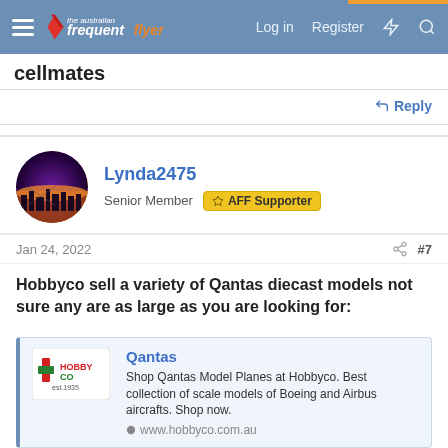The Australian Frequent Flyer — Log in | Register
cellmates
Reply
[Figure (photo): User avatar for Lynda2475 showing a sunset/city silhouette with purple and orange tones]
Lynda2475
Senior Member AFF Supporter
Jan 24, 2022  #7
Hobbyco sell a variety of Qantas diecast models not sure any are as large as you are looking for:
[Figure (screenshot): Hobbyco link card showing the Hobbyco logo, title 'Qantas', description 'Shop Qantas Model Planes at Hobbyco. Best collection of scale models of Boeing and Airbus aircrafts. Shop now.', and URL www.hobbyco.com.au]
And of course the Qantas shop sells similar, which you can buy